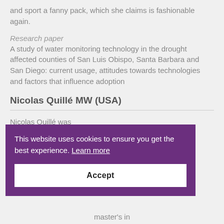and sport a fanny pack, which she claims is fashionable again.
Research paper
A study of water monitoring technology in the drought affected counties of San Luis Obispo, Santa Barbara and San Diego: current usage, attitudes towards technologies and factors that influence adoption
Nicolas Quillé MW (USA)
Nicolas Quillé was
This website uses cookies to ensure you get the best experience. Learn more
Accept
master's in